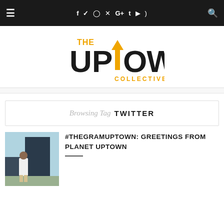≡  f  t  ☆  ⊕  G+  t  ▶  )))  🔍
[Figure (logo): The Uptown Collective logo — large bold black text 'UPTOWN' with an orange upward arrow replacing the T, smaller orange text 'THE' above left, and 'COLLECTIVE' in orange below right]
Browsing Tag TWITTER
[Figure (photo): A man in a white suit standing outdoors on a city street]
#THEGRAMUPTOWN: GREETINGS FROM PLANET UPTOWN